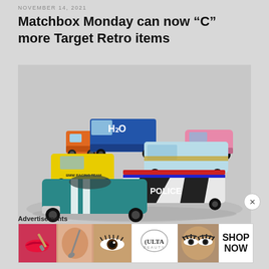NOVEMBER 14, 2021
Matchbox Monday can now “C” more Target Retro items
[Figure (photo): Photo of multiple Matchbox die-cast toy cars grouped together on a light gray background, including a teal convertible with white stripes, a yellow hatchback with BMW Racing Team livery, a blue H2O truck, a light blue bus/van, a police car, a pink vehicle, and an orange truck cab.]
Advertisements
[Figure (photo): ULTA Beauty advertisement banner showing beauty/makeup themed images including lips with makeup brush, eyes with mascara, ULTA Beauty logo in center, glamorous eye makeup, and SHOP NOW call to action.]